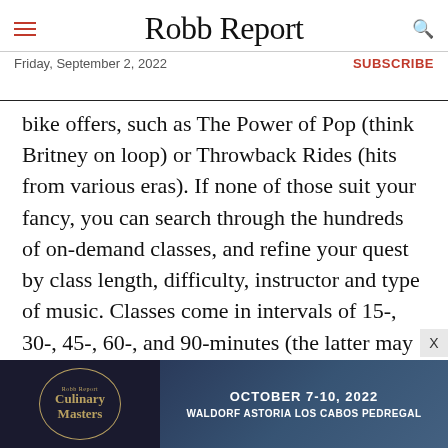Robb Report
Friday, September 2, 2022 | SUBSCRIBE
bike offers, such as The Power of Pop (think Britney on loop) or Throwback Rides (hits from various eras). If none of those suit your fancy, you can search through the hundreds of on-demand classes, and refine your quest by class length, difficulty, instructor and type of music. Classes come in intervals of 15-, 30-, 45-, 60-, and 90-minutes (the latter may ensure you'll be unable to walk for the next week). There are also classes tailored to every skill level, from beginner to expert. Personally, I'm good at a
[Figure (infographic): Advertisement banner for Robb Report Culinary Masters event, October 7-10 2022, Waldorf Astoria Los Cabos Pedregal]